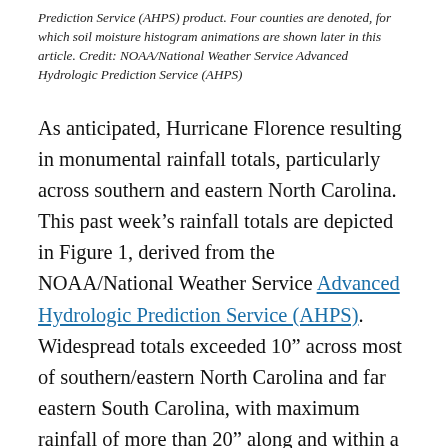Prediction Service (AHPS) product. Four counties are denoted, for which soil moisture histogram animations are shown later in this article. Credit: NOAA/National Weather Service Advanced Hydrologic Prediction Service (AHPS)
As anticipated, Hurricane Florence resulting in monumental rainfall totals, particularly across southern and eastern North Carolina. This past week’s rainfall totals are depicted in Figure 1, derived from the NOAA/National Weather Service Advanced Hydrologic Prediction Service (AHPS). Widespread totals exceeded 10” across most of southern/eastern North Carolina and far eastern South Carolina, with maximum rainfall of more than 20” along and within a few counties of the Atlantic Coast.